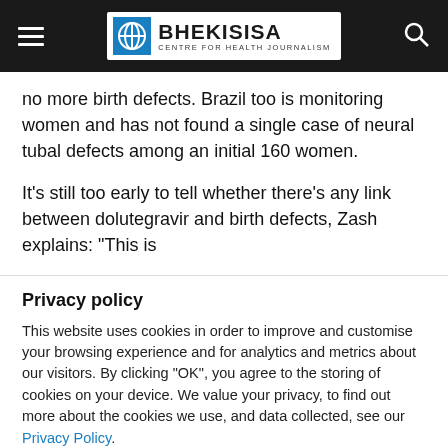BHEKISISA CENTRE FOR HEALTH JOURNALISM
no more birth defects. Brazil too is monitoring women and has not found a single case of neural tubal defects among an initial 160 women.
It's still too early to tell whether there's any link between dolutegravir and birth defects, Zash explains: "This is
Privacy policy
This website uses cookies in order to improve and customise your browsing experience and for analytics and metrics about our visitors. By clicking "OK", you agree to the storing of cookies on your device. We value your privacy, to find out more about the cookies we use, and data collected, see our Privacy Policy.
Cookie Settings  OK